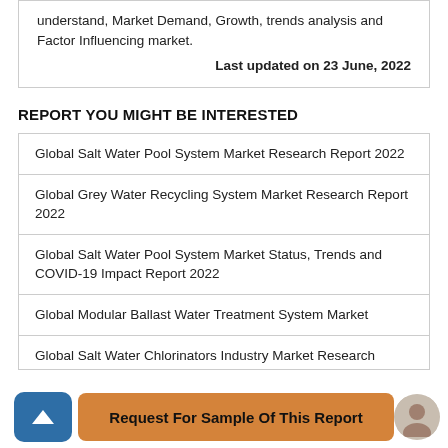understand, Market Demand, Growth, trends analysis and Factor Influencing market.
Last updated on 23 June, 2022
REPORT YOU MIGHT BE INTERESTED
Global Salt Water Pool System Market Research Report 2022
Global Grey Water Recycling System Market Research Report 2022
Global Salt Water Pool System Market Status, Trends and COVID-19 Impact Report 2022
Global Modular Ballast Water Treatment System Market
Global Salt Water Chlorinators Industry Market Research